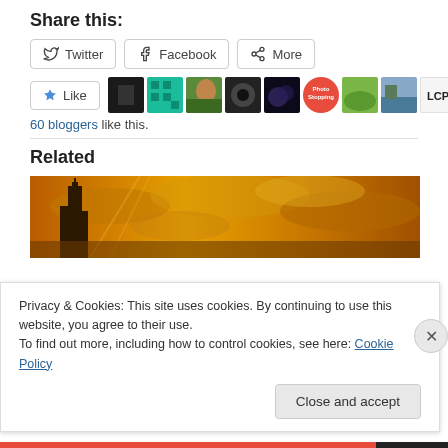Share this:
Twitter  Facebook  More
[Figure (screenshot): Like button and row of blogger avatar thumbnails]
60 bloggers like this.
Related
[Figure (photo): Wide photo showing a tower/church spire silhouette against a golden-orange dramatic sky with clouds]
Privacy & Cookies: This site uses cookies. By continuing to use this website, you agree to their use.
To find out more, including how to control cookies, see here: Cookie Policy
Close and accept